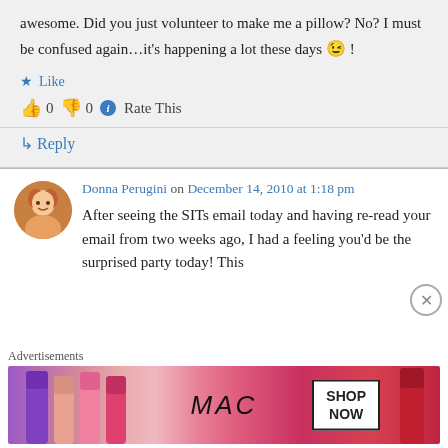awesome. Did you just volunteer to make me a pillow? No? I must be confused again…it's happening a lot these days 😉 !
★ Like
👍 0 👎 0 ℹ Rate This
↳ Reply
Donna Perugini on December 14, 2010 at 1:18 pm
After seeing the SITs email today and having re-read your email from two weeks ago, I had a feeling you'd be the surprised party today! This
Advertisements
[Figure (photo): MAC cosmetics advertisement showing lipsticks with SHOP NOW button]